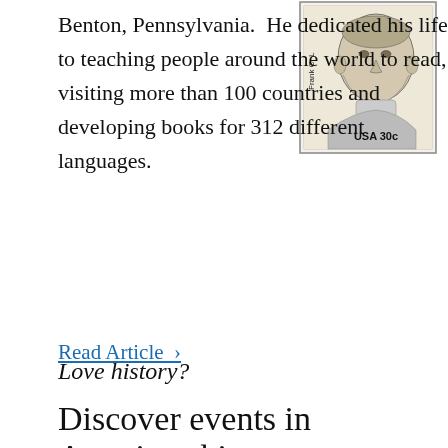Benton, Pennsylvania.  He dedicated his life to teaching people around the world to read, visiting more than 100 countries and developing books for 312 different languages.
[Figure (illustration): A US postage stamp depicting Frank C. Laubach, labeled 'Frank C. L...' and 'USA 30c'. Black and white engraved portrait of a man.]
Read Article ›
Love history?
Discover events in American history
and how they connect to the...